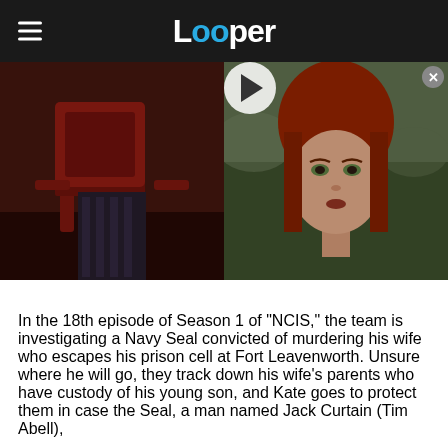Looper
[Figure (screenshot): Two-panel media strip: left panel shows a dark scene with a red wooden chair; right panel shows a woman with red hair with a video play button overlay.]
In the 18th episode of Season 1 of "NCIS," the team is investigating a Navy Seal convicted of murdering his wife who escapes his prison cell at Fort Leavenworth. Unsure where he will go, they track down his wife's parents who have custody of his young son, and Kate goes to protect them in case the Seal, a man named Jack Curtain (Tim Abell),